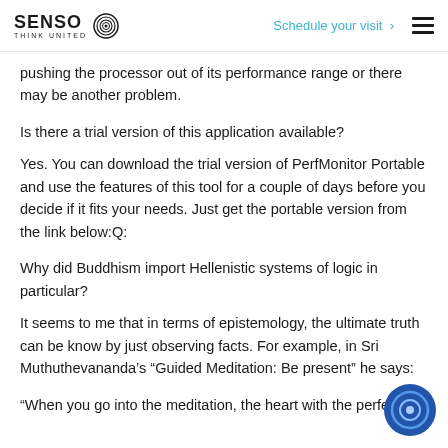SENSO THINK UNITED | Schedule your visit
pushing the processor out of its performance range or there may be another problem.
Is there a trial version of this application available?
Yes. You can download the trial version of PerfMonitor Portable and use the features of this tool for a couple of days before you decide if it fits your needs. Just get the portable version from the link below:Q:
Why did Buddhism import Hellenistic systems of logic in particular?
It seems to me that in terms of epistemology, the ultimate truth can be know by just observing facts. For example, in Sri Muthuthevananda's “Guided Meditation: Be present” he says:
“When you go into the meditation, the heart with the perfe…